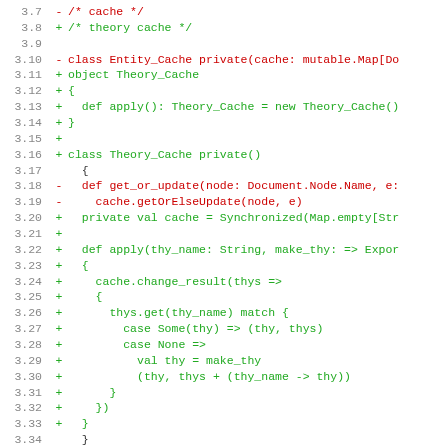[Figure (screenshot): Code diff view showing Scala source changes: removal of Entity_Cache class/object and addition of Theory_Cache object and class with apply and cache methods. Line numbers 3.7–3.38, red lines for removals (-), green lines for additions (+).]